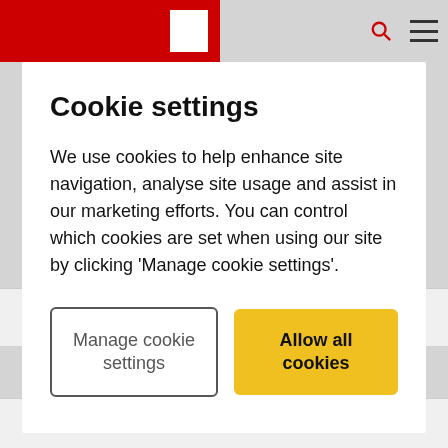[Figure (screenshot): Website header with red logo block on left and search/hamburger icons on right against gray background]
Cookie settings
We use cookies to help enhance site navigation, analyse site usage and assist in our marketing efforts. You can control which cookies are set when using our site by clicking 'Manage cookie settings'.
Manage cookie settings
Allow all cookies
In Freedom of information
See also